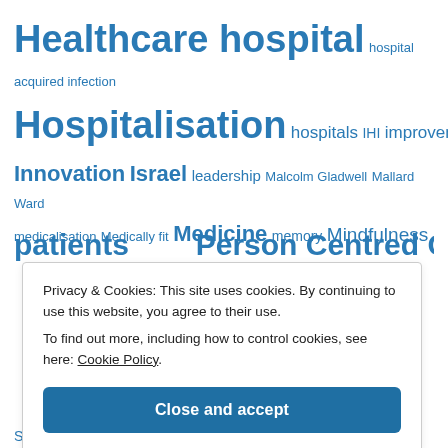[Figure (infographic): Tag cloud with healthcare-related terms in various sizes in blue, including Healthcare hospital, hospital acquired infection, Hospitalisation, hospitals, IHI, improvement, Innovation, Israel, leadership, Malcolm Gladwell, Mallard Ward, medicalisation, Medically fit, Medicine, memory, Mindfulness, Multidisciplinary teams, NHS, Nietzsche, Older People, palliative care, pathways, patient safety, people not patients (partial), Person Centred Care (partial)]
Privacy & Cookies: This site uses cookies. By continuing to use this website, you agree to their use. To find out more, including how to control cookies, see here: Cookie Policy
Close and accept
September 2022 (1)